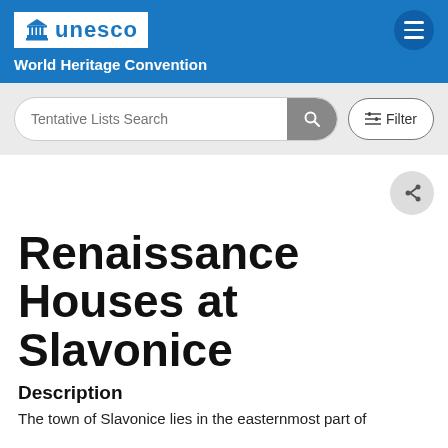UNESCO World Heritage Convention
[Figure (screenshot): Search bar with 'Tentative Lists Search' placeholder text, a search button, and a Filter button]
Renaissance Houses at Slavonice
Description
The town of Slavonice lies in the easternmost part of